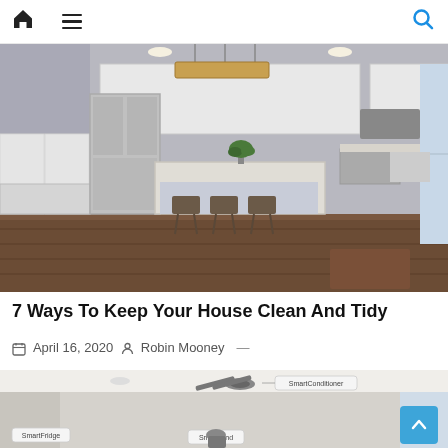Home | Menu | Search
[Figure (photo): Modern white kitchen with island, bar stools, stainless steel appliances, pendant lighting, and dark hardwood floors]
7 Ways To Keep Your House Clean And Tidy
April 16, 2020   Robin Mooney —
[Figure (photo): Smart home living room with labeled smart devices including SmartConditioner, SmartFridge, SmartBlind visible, with back-to-top button]